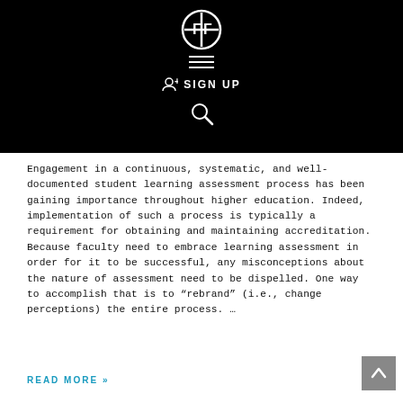[Figure (logo): White circular logo with letter F design on black background, hamburger menu icon, sign up button with person icon, and search icon]
Engagement in a continuous, systematic, and well-documented student learning assessment process has been gaining importance throughout higher education. Indeed, implementation of such a process is typically a requirement for obtaining and maintaining accreditation. Because faculty need to embrace learning assessment in order for it to be successful, any misconceptions about the nature of assessment need to be dispelled. One way to accomplish that is to “rebrand” (i.e., change perceptions) the entire process. ...
READ MORE »